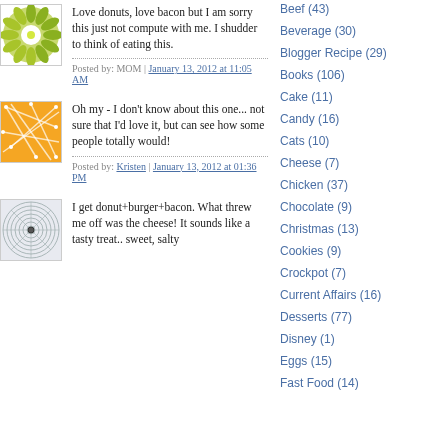[Figure (illustration): Green and white floral/snowflake pattern avatar image]
Love donuts, love bacon but I am sorry this just not compute with me. I shudder to think of eating this.
Posted by: MOM | January 13, 2012 at 11:05 AM
[Figure (illustration): Orange abstract geometric/network pattern avatar image]
Oh my - I don't know about this one... not sure that I'd love it, but can see how some people totally would!
Posted by: Kristen | January 13, 2012 at 01:36 PM
[Figure (illustration): Grey/blue spiral geometric pattern avatar image]
I get donut+burger+bacon. What threw me off was the cheese! It sounds like a tasty treat.. sweet, salty
Beef (43)
Beverage (30)
Blogger Recipe (29)
Books (106)
Cake (11)
Candy (16)
Cats (10)
Cheese (7)
Chicken (37)
Chocolate (9)
Christmas (13)
Cookies (9)
Crockpot (7)
Current Affairs (16)
Desserts (77)
Disney (1)
Eggs (15)
Fast Food (14)